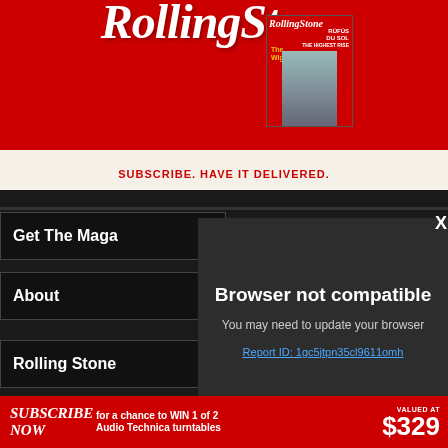[Figure (screenshot): Rolling Stone magazine advertisement with red banner showing magazine cover with The Wiggles and RÜFÜS DU SOL text]
SUBSCRIBE. HAVE IT DELIVERED.
Get The Maga
About
Rolling Stone
X
Browser not compatible
You may need to update your browser
Report ID: 1gc5jtpn35cl9611omh
[Figure (screenshot): Bottom banner advertisement: SUBSCRIBE NOW for a chance to WIN 1 of 2 Audio Technica turntables VALUED AT $329]